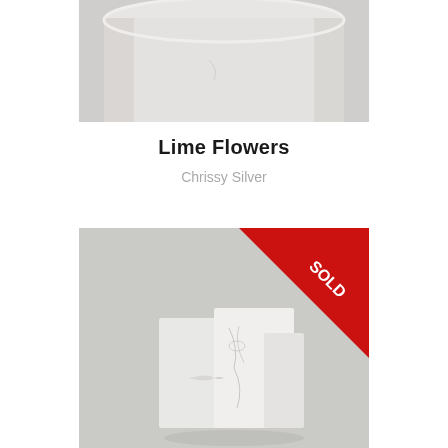[Figure (photo): Close-up photo of a white ceramic cylindrical vessel or bowl, cropped showing the rim and side, soft light background]
Lime Flowers
Chrissy Silver
[Figure (photo): Photo of white ceramic sculptural piece with delicate etched floral/leaf designs, displayed against a light grey background, with a red SOLD banner in the top-right corner]